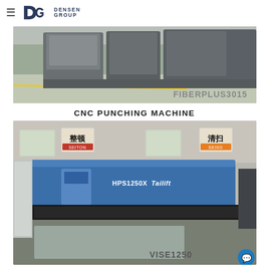≡ DG DENSEN GROUP
[Figure (photo): Industrial laser cutting machine (FIBERPLUS3015) on factory floor with yellow safety line]
CNC PUNCHING MACHINE
[Figure (photo): CNC punching machine (VISE1250 / HPS1250X by Tailift) on factory floor with signage in Chinese and English]